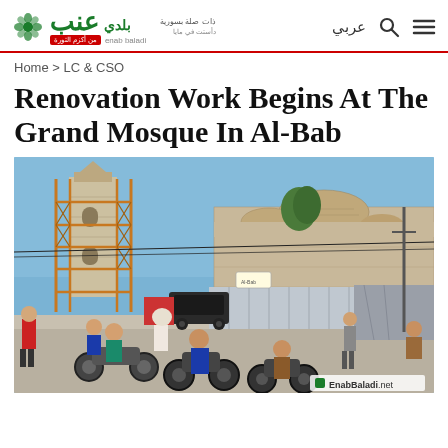Enab Baladi — عربي
Home > LC & CSO
Renovation Work Begins At The Grand Mosque In Al-Bab
[Figure (photo): Street scene in front of the Grand Mosque in Al-Bab, Syria. A tall minaret tower wrapped in wooden scaffolding is visible on the left. The mosque building with domed roofs made of stone is in the background. People on motorcycles and on foot are in the foreground. Metal barriers are placed in front of the mosque. Watermark reads: EnabBaladi.net]